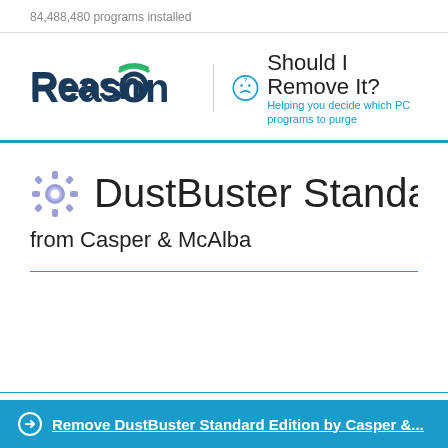84,488,480 programs installed
[Figure (logo): Reason | Should I Remove It? logo with smiley face icon and tagline 'Helping you decide which PC programs to purge']
DustBuster Standard Edit
from Casper & McAlba
Remove DustBuster Standard Edition by Casper &...